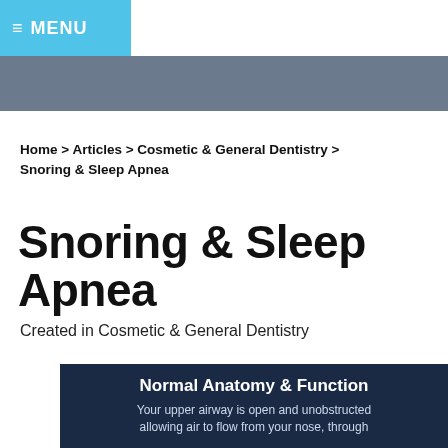≡ MENU
Home > Articles > Cosmetic & General Dentistry > Snoring & Sleep Apnea
Snoring & Sleep Apnea
Created in Cosmetic & General Dentistry
[Figure (illustration): Dark navy background panel titled 'Normal Anatomy & Function' with subtitle text: 'Your upper airway is open and unobstructed allowing air to flow from your nose, through']